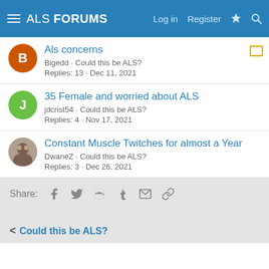ALS FORUMS — Log in  Register
Als concerns
Bigedd · Could this be ALS?
Replies: 13 · Dec 11, 2021
35 Female and worried about ALS
jdcrist54 · Could this be ALS?
Replies: 4 · Nov 17, 2021
Constant Muscle Twitches for almost a Year
DwaneZ · Could this be ALS?
Replies: 3 · Dec 26, 2021
Share:
Could this be ALS?